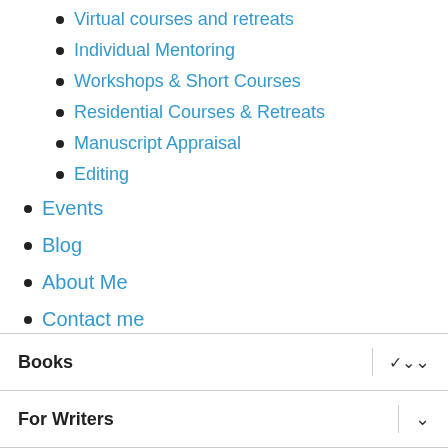Virtual courses and retreats
Individual Mentoring
Workshops & Short Courses
Residential Courses & Retreats
Manuscript Appraisal
Editing
Events
Blog
About Me
Contact me
Books
For Writers